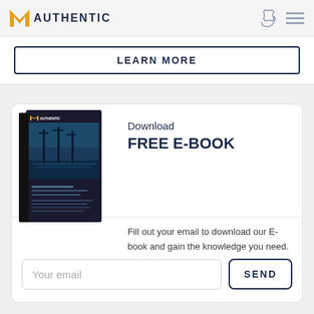AUTHENTIC
LEARN MORE
[Figure (illustration): Authentic e-book cover showing a city waterfront with industrial cranes at night]
Download FREE E-BOOK
Fill out your email to download our E-book and gain the knowledge you need.
Your email
SEND